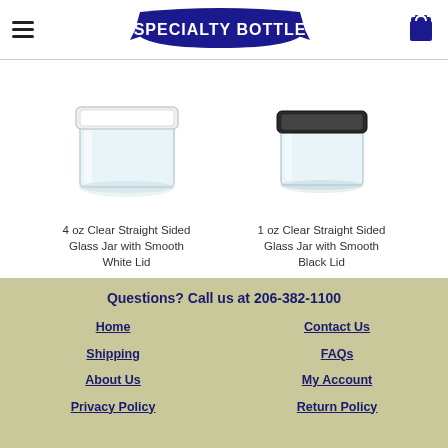Specialty Bottle — navigation header with logo, hamburger menu, and cart icon
[Figure (photo): 4 oz Clear Straight Sided Glass Jar with Smooth White Lid — product photo]
4 oz Clear Straight Sided Glass Jar with Smooth White Lid
[Figure (photo): 1 oz Clear Straight Sided Glass Jar with Smooth Black Lid — product photo]
1 oz Clear Straight Sided Glass Jar with Smooth Black Lid
Questions? Call us at 206-382-1100
Home | Contact Us | Shipping | FAQs | About Us | My Account | Privacy Policy | Return Policy